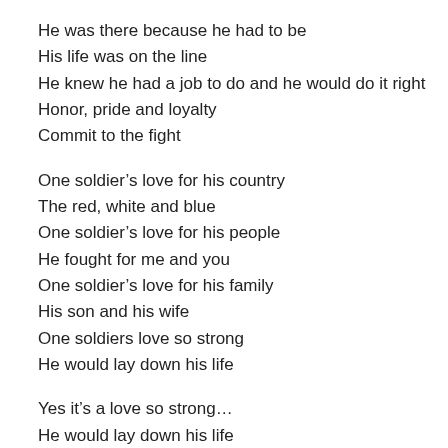He was there because he had to be
His life was on the line
He knew he had a job to do and he would do it right
Honor, pride and loyalty
Commit to the fight
One soldier’s love for his country
The red, white and blue
One soldier’s love for his people
He fought for me and you
One soldier’s love for his family
His son and his wife
One soldiers love so strong
He would lay down his life
Yes it’s a love so strong…
He would lay down his life